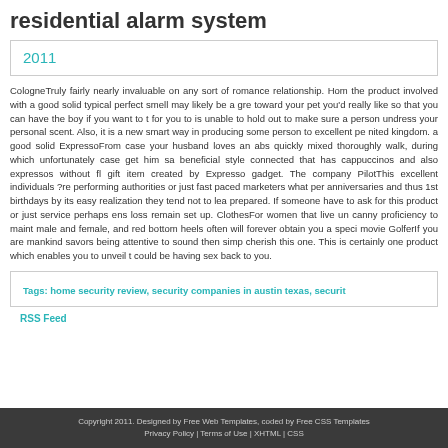residential alarm system
2011
CologneTruly fairly nearly invaluable on any sort of romance relationship. Hom the product involved with a good solid typical perfect smell may likely be a gre toward your pet you'd really like so that you can have the boy if you want to t for you to is unable to hold out to make sure a person undress your personal scent. Also, it is a new smart way in producing some person to excellent pe nited kingdom. a good solid ExpressoFrom case your husband loves an abs quickly mixed thoroughly walk, during which unfortunately case get him sa beneficial style connected that has cappuccinos and also expressos without fl gift item created by Expresso gadget. The company PilotThis excellent individuals ?re performing authorities or just fast paced marketers what per anniversaries and thus 1st birthdays by its easy realization they tend not to lea prepared. If someone have to ask for this product or just service perhaps ens loss remain set up. ClothesFor women that live un canny proficiency to maint male and female, and red bottom heels often will forever obtain you a speci movie GolferIf you are mankind savors being attentive to sound then simp cherish this one. This is certainly one product which enables you to unveil t could be having sex back to you.
Tags: home security review, security companies in austin texas, securit
RSS Feed
Copyright 2011. Designed by Free Web Templates, coded by Free CSS Templates Privacy Policy | Terms of Use | XHTML | CSS